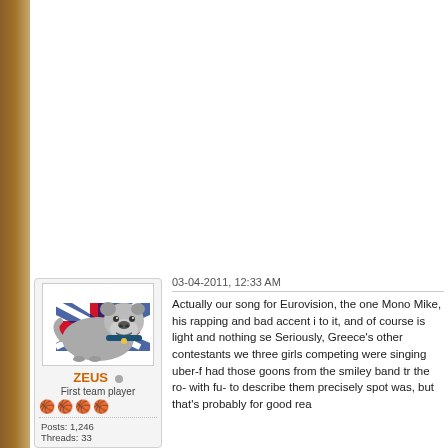[Figure (illustration): Forum user avatar: British bulldog lying down with Union Jack pattern on its body and a blue collar]
ZEUS
First team player
Posts: 1,246
Threads: 33
03-04-2011, 12:33 AM
Actually our song for Eurovision, the one Mono Mike, his rapping and bad accent i to it, and of course is light and nothing se Seriously, Greece's other contestants we three girls competing were singing uber-f had those goons from the smiley band try the ro- with fu- to describe them precisely spot was, but that's probably for good rea